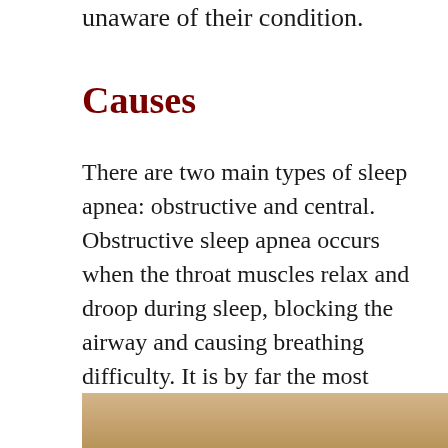unaware of their condition.
Causes
There are two main types of sleep apnea: obstructive and central. Obstructive sleep apnea occurs when the throat muscles relax and droop during sleep, blocking the airway and causing breathing difficulty. It is by far the most common form of the disorder. Central sleep apnea is the result of the brain failing to properly control breathing during sleep; this is rare.
[Figure (photo): Partial view of a person, likely related to sleep apnea topic, cropped at bottom of page]